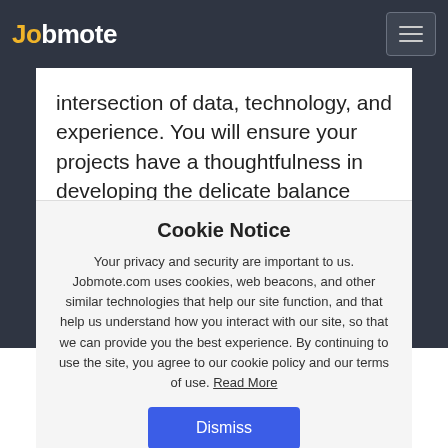Jobmote
intersection of data, technology, and experience. You will ensure your projects have a thoughtfulness in developing the delicate balance between weight and usability in your designs. You will lead projects and support designers in understanding visual systems and a strategic point-of-view about both the art
Cookie Notice
Your privacy and security are important to us. Jobmote.com uses cookies, web beacons, and other similar technologies that help our site function, and that help us understand how you interact with our site, so that we can provide you the best experience. By continuing to use the site, you agree to our cookie policy and our terms of use. Read More
Dismiss